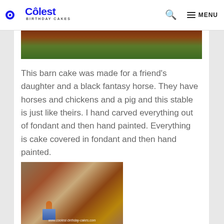Coolest Birthday Cakes — MENU
[Figure (photo): Top portion of a barn cake showing green and brown fondant decoration]
This barn cake was made for a friend's daughter and a black fantasy horse. They have horses and chickens and a pig and this stable is just like theirs. I hand carved everything out of fondant and then hand painted. Everything is cake covered in fondant and then hand painted.
[Figure (photo): Fondant figurine of a girl standing in the barn cake scene with hay and barn elements, watermarked www.coolest-birthday-cakes.com]